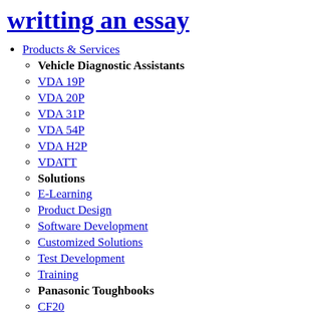writting an essay
Products & Services
Vehicle Diagnostic Assistants
VDA 19P
VDA 20P
VDA 31P
VDA 54P
VDA H2P
VDATT
Solutions
E-Learning
Product Design
Software Development
Customized Solutions
Test Development
Training
Panasonic Toughbooks
CF20
CF31
CF54
CFH2
CFZC1